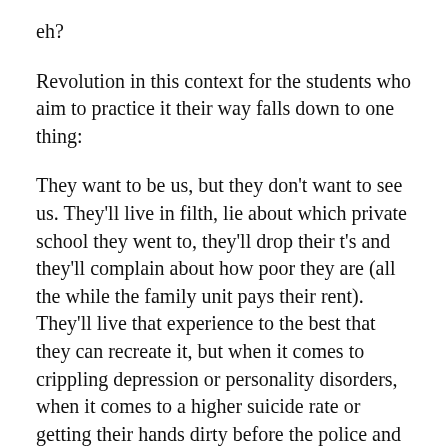eh?
Revolution in this context for the students who aim to practice it their way falls down to one thing:
They want to be us, but they don't want to see us. They'll live in filth, lie about which private school they went to, they'll drop their t's and they'll complain about how poor they are (all the while the family unit pays their rent). They'll live that experience to the best that they can recreate it, but when it comes to crippling depression or personality disorders, when it comes to a higher suicide rate or getting their hands dirty before the police and the state, often with devastating consequences, they'll step back out of their voluntary poverty and they'll remember their roots.
Talking about class is divisive. It divides those who live the through the unerring darknesses of austerity, who